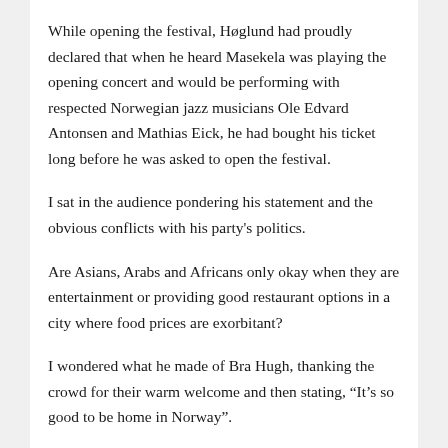While opening the festival, Høglund had proudly declared that when he heard Masekela was playing the opening concert and would be performing with respected Norwegian jazz musicians Ole Edvard Antonsen and Mathias Eick, he had bought his ticket long before he was asked to open the festival.
I sat in the audience pondering his statement and the obvious conflicts with his party's politics.
Are Asians, Arabs and Africans only okay when they are entertainment or providing good restaurant options in a city where food prices are exorbitant?
I wondered what he made of Bra Hugh, thanking the crowd for their warm welcome and then stating, “It’s so good to be home in Norway”.